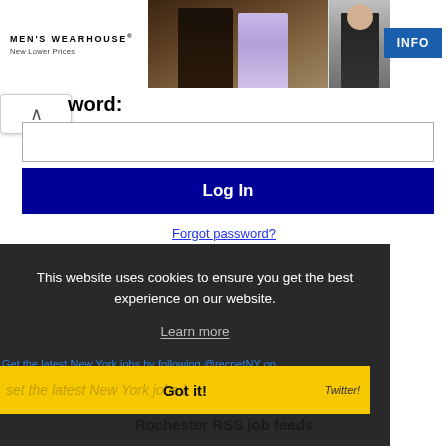[Figure (photo): Men's Wearhouse advertisement banner with couple in formal wear and boy in suit, with INFO button]
word:
Log In
Forgot password?
This website uses cookies to ensure you get the best experience on our website.
Learn more
Get the latest New York jobs by following @recnetNY on Twitter!
Got it!
Rochester RSS job feeds